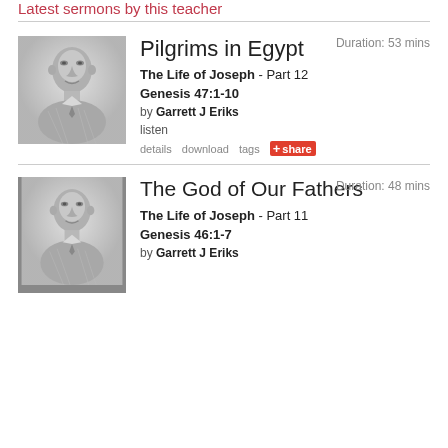Latest sermons by this teacher
[Figure (photo): Black and white headshot photo of Garrett J Eriks]
Pilgrims in Egypt
Duration: 53 mins
The Life of Joseph - Part 12
Genesis 47:1-10
by Garrett J Eriks
listen
details   download   tags   +share
[Figure (photo): Black and white headshot photo of Garrett J Eriks]
The God of Our Fathers
Duration: 48 mins
The Life of Joseph - Part 11
Genesis 46:1-7
by Garrett J Eriks